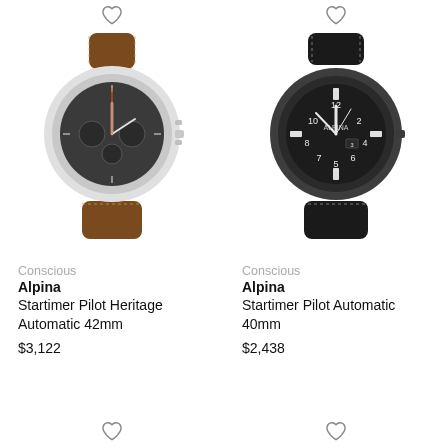[Figure (photo): Heart/wishlist icon top left]
[Figure (photo): Heart/wishlist icon top right]
[Figure (photo): Alpina Startimer Pilot Heritage Automatic 42mm watch with brown leather strap and silver case]
[Figure (photo): Alpina Startimer Pilot Automatic 40mm watch with black strap and dark case]
Conscious
Alpina
Startimer Pilot Heritage Automatic 42mm
$3,122
Conscious
Alpina
Startimer Pilot Automatic 40mm
$2,438
[Figure (photo): Heart/wishlist icon bottom left]
[Figure (photo): Heart/wishlist icon bottom right]